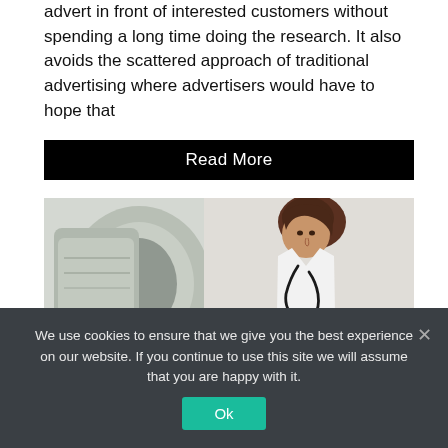advert in front of interested customers without spending a long time doing the research. It also avoids the scattered approach of traditional advertising where advertisers would have to hope that
Read More
[Figure (photo): A female doctor in a white coat with stethoscope, leaning toward a large MRI or CT scanner machine.]
We use cookies to ensure that we give you the best experience on our website. If you continue to use this site we will assume that you are happy with it.
Ok